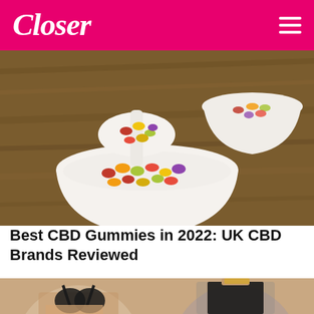Closer
[Figure (photo): CBD gummy bears in a white bowl with a spoon, colorful red, yellow, and green gummies on a wooden background, with another bowl in the background]
Best CBD Gummies in 2022: UK CBD Brands Reviewed
[Figure (photo): Two women wearing shapewear/bodysuits — one in a nude open-cup bodysuit on the left, one in a black tank bodysuit on the right, shown from torso up]